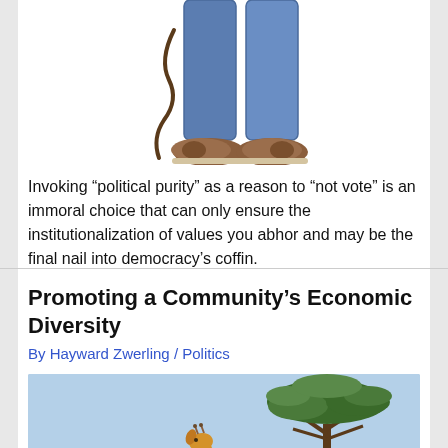[Figure (illustration): Cartoon illustration of a person's lower body showing blue jeans and brown shoes, with a curly tail visible, suggesting a whimsical or satirical image.]
Invoking “political purity” as a reason to “not vote” is an immoral choice that can only ensure the institutionalization of values you abhor and may be the final nail into democracy’s coffin.
Promoting a Community’s Economic Diversity
By Hayward Zwerling / Politics
[Figure (photo): Outdoor photograph showing a giraffe and a large acacia tree against a light blue sky, suggesting an African savanna setting.]